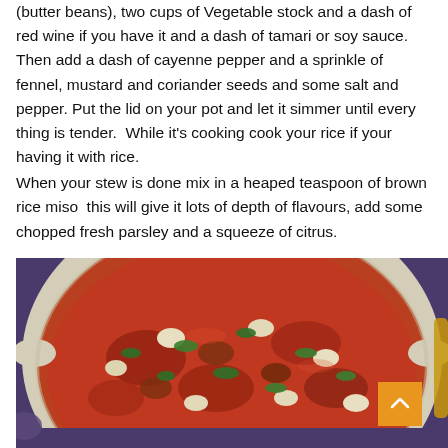(butter beans), two cups of Vegetable stock and a dash of red wine if you have it and a dash of tamari or soy sauce. Then add a dash of cayenne pepper and a sprinkle of fennel, mustard and coriander seeds and some salt and pepper. Put the lid on your pot and let it simmer until every thing is tender.  While it's cooking cook your rice if your having it with rice.
When your stew is done mix in a heaped teaspoon of brown rice miso  this will give it lots of depth of flavours, add some chopped fresh parsley and a squeeze of citrus.
[Figure (photo): A ceramic pot filled with a hearty tomato-based bean stew garnished with fresh green herbs (parsley), viewed from above. The pot sits on a purple background.]